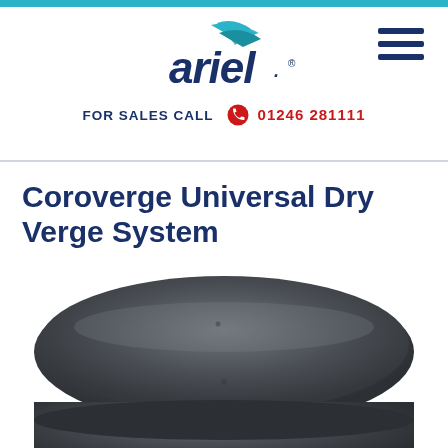[Figure (logo): Ariel logo with teal bird/arrow mark above dark blue italic 'ariel.' wordmark with registered trademark symbol]
FOR SALES CALL 01246 281111
Coroverge Universal Dry Verge System
[Figure (photo): Close-up product photo of a dark grey/anthracite rounded plastic component (dry verge unit) against white background]